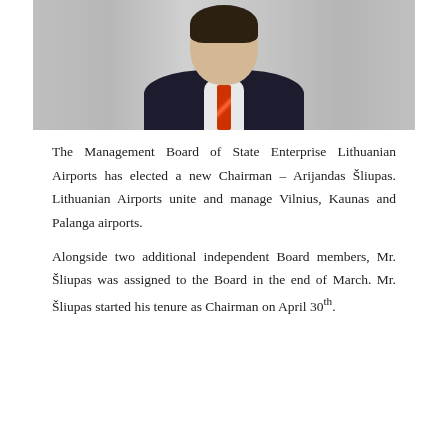[Figure (photo): Portrait photo of Arijandas Šliupas, a man in a dark suit with an orange/red striped tie, looking slightly to the side]
The Management Board of State Enterprise Lithuanian Airports has elected a new Chairman – Arijandas Šliupas. Lithuanian Airports unite and manage Vilnius, Kaunas and Palanga airports.
Alongside two additional independent Board members, Mr. Šliupas was assigned to the Board in the end of March. Mr. Šliupas started his tenure as Chairman on April 30th.